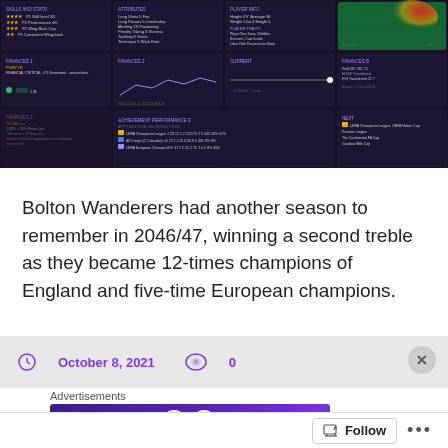[Figure (screenshot): Football Manager 2022 game interface screenshot showing player stats, performance charts, heatmap, and competition results for Bolton Wanderers]
Bolton Wanderers had another season to remember in 2046/47, winning a second treble as they became 12-times champions of England and five-time European champions.
October 8, 2021  0
Advertisements
[Figure (screenshot): Opinions advertisement banner with avatar icons]
Follow